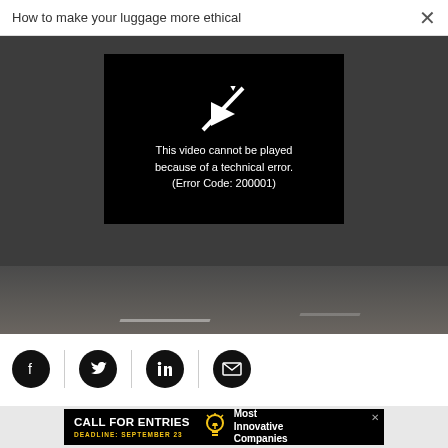How to make your luggage more ethical ×
[Figure (screenshot): Video player showing error: 'This video cannot be played because of a technical error. (Error Code: 200001)' on dark background with broken play icon]
[Figure (photo): Bottom strip of photo showing ground/pavement]
[Figure (infographic): Social share icons: Facebook, Twitter, LinkedIn, Email (dark circles) with dividers]
[Figure (infographic): Advertisement banner: CALL FOR ENTRIES DEADLINE: SEPTEMBER 23 with lightbulb icon and 'Most Innovative Companies' text]